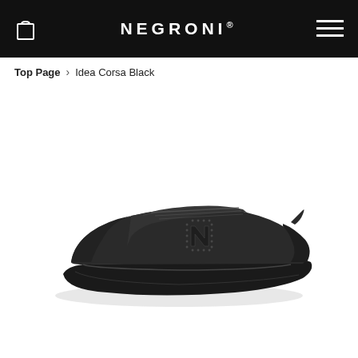NEGRONI®
Top Page > Idea Corsa Black
[Figure (photo): Black leather sneaker (Idea Corsa Black) by Negroni, shown in profile view from the right side. The shoe features a low-profile design with perforated N logo on the side, lace-up closure, and a black rubber sole. All-black colorway.]